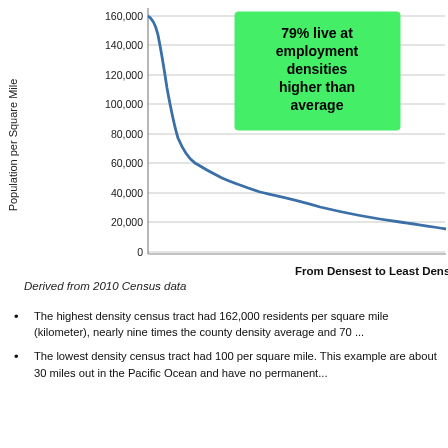[Figure (continuous-plot): A sharply declining curve chart showing population per square mile from densest to least dense census tracts. Y-axis ranges from 0 to 160,000. The curve drops steeply from ~162,000 at the leftmost tract and flattens out to ~20,000 toward the right. A green annotation box states '79% live at employment densities higher than average'.]
Derived from 2010 Census data
The highest density census tract had 162,000 residents per square mile (kilometer), nearly nine times the county density average and 70...
The lowest density census tract had 100 per square mile. This example are about 30 miles out in the Pacific Ocean and have no permanent...